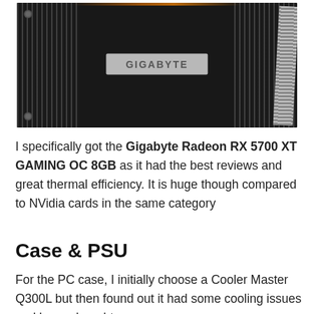[Figure (photo): Close-up photo of a Gigabyte graphics card (GPU) installed in a PC, showing heatsink fins on both sides and cables on the right, with a silver GIGABYTE logo label in the center.]
I specifically got the Gigabyte Radeon RX 5700 XT GAMING OC 8GB as it had the best reviews and great thermal efficiency. It is huge though compared to NVidia cards in the same category
Case & PSU
For the PC case, I initially choose a Cooler Master Q300L but then found out it had some cooling issues and hence bought a